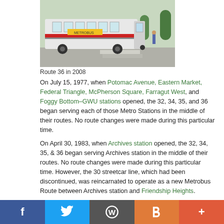[Figure (photo): A bus (Route 36) photographed in 2008 on a city street, showing a red and yellow transit bus at an intersection.]
Route 36 in 2008
On July 15, 1977, when Potomac Avenue, Eastern Market, Federal Triangle, McPherson Square, Farragut West, and Foggy Bottom–GWU stations opened, the 32, 34, 35, and 36 began serving each of those Metro Stations in the middle of their routes. No route changes were made during this particular time.
On April 30, 1983, when Archives station opened, the 32, 34, 35, & 36 began serving Archives station in the middle of their routes. No route changes were made during this particular time. However, the 30 streetcar line, which had been discontinued, was reincarnated to operate as a new Metrobus Route between Archives station and Friendship Heights.
On August 25, 1984 when Friendship Heights station opened, the 30, 32, 34, 35, and 36 were all extended from their original Friendship
Facebook Twitter WordPress Blogger +